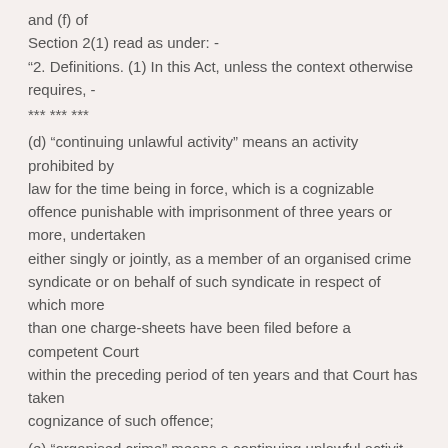and (f) of
Section 2(1) read as under: -
“2. Definitions. (1) In this Act, unless the context otherwise requires, -
*** *** ***
(d) “continuing unlawful activity” means an activity prohibited by law for the time being in force, which is a cognizable offence punishable with imprisonment of three years or more, undertaken either singly or jointly, as a member of an organised crime syndicate or on behalf of such syndicate in respect of which more than one charge-sheets have been filed before a competent Court within the preceding period of ten years and that Court has taken cognizance of such offence;
(e) “organised crime” means a continuing unlawful activity...